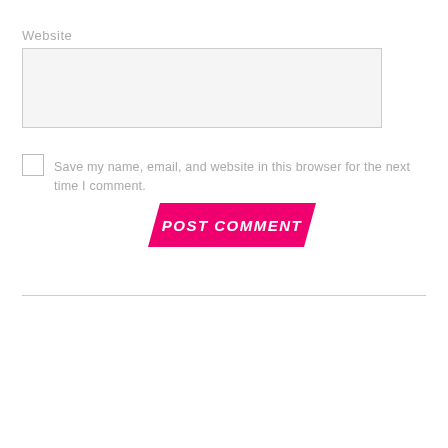Website
[Figure (other): Text input field for website URL, light gray background with border]
[Figure (other): Unchecked checkbox]
Save my name, email, and website in this browser for the next time I comment.
[Figure (other): POST COMMENT button with hot pink/magenta parallelogram background and bold white italic text]